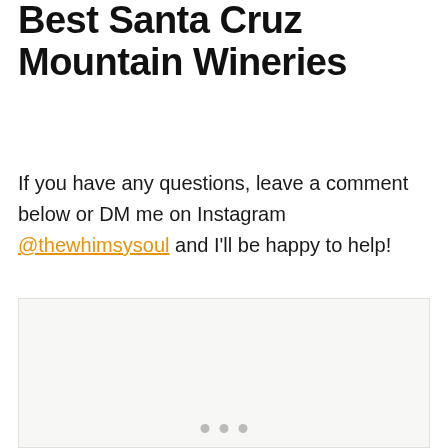Best Santa Cruz Mountain Wineries
If you have any questions, leave a comment below or DM me on Instagram @thewhimsysoul and I'll be happy to help!
[Figure (photo): Placeholder image box with navigation dots, likely a photo carousel showing Santa Cruz Mountain Winery imagery]